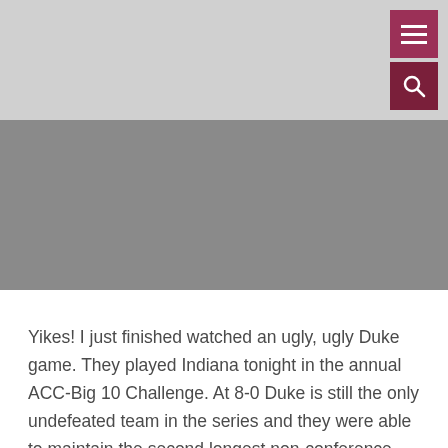[Figure (other): Website header area with light gray background, dark crimson hamburger menu button and search button in top right corner, and a gray image/banner area below]
Yikes! I just finished watched an ugly, ugly Duke game. They played Indiana tonight in the annual ACC-Big 10 Challenge. At 8-0 Duke is still the only undefeated team in the series and they were able to maintain the second longest non-conference win streak currently around. In the first half they played some very nice defense and they were up by twelve.